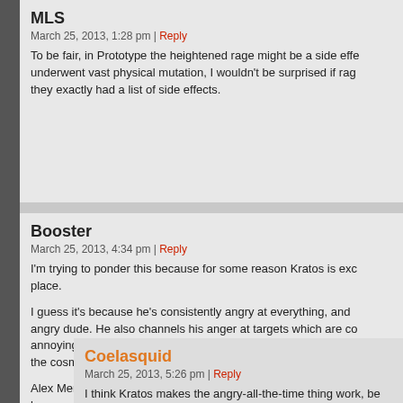MLS
March 25, 2013, 1:28 pm | Reply
To be fair, in Prototype the heightened rage might be a side effect. Alex Mercer underwent vast physical mutation, I wouldn't be surprised if rage was part of it. Did they exactly had a list of side effects.
Booster
March 25, 2013, 4:34 pm | Reply
I'm trying to ponder this because for some reason Kratos is exceptional in his place.

I guess it's because he's consistently angry at everything, and a consistently angry dude. He also channels his anger at targets which are consistently awful and annoying people with red souls in them. He's a relatively normal dude except the cosmos and shits all up in his grill all the time.

Alex Mercer has points where he's totally chill to some people, because initially they say he's a normal science dude with a girlfriend so he was a sociable person at some point. But no personality is established so none of those relationships fit with his current personality.Have you tried walking around and constantly slapping civilians around for no reason. He ended up being my least fave because of how the only reaction he has to anything is to shoo
Coelasquid
March 25, 2013, 5:26 pm | Reply
I think Kratos makes the angry-all-the-time thing work, because he's not as angry for the eight hour duration of the time you're playing as him, after he's burnt out and suicidally depressed, which is a p